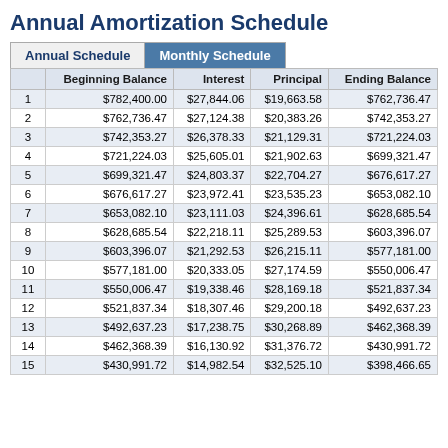Annual Amortization Schedule
|  | Beginning Balance | Interest | Principal | Ending Balance |
| --- | --- | --- | --- | --- |
| 1 | $782,400.00 | $27,844.06 | $19,663.58 | $762,736.47 |
| 2 | $762,736.47 | $27,124.38 | $20,383.26 | $742,353.27 |
| 3 | $742,353.27 | $26,378.33 | $21,129.31 | $721,224.03 |
| 4 | $721,224.03 | $25,605.01 | $21,902.63 | $699,321.47 |
| 5 | $699,321.47 | $24,803.37 | $22,704.27 | $676,617.27 |
| 6 | $676,617.27 | $23,972.41 | $23,535.23 | $653,082.10 |
| 7 | $653,082.10 | $23,111.03 | $24,396.61 | $628,685.54 |
| 8 | $628,685.54 | $22,218.11 | $25,289.53 | $603,396.07 |
| 9 | $603,396.07 | $21,292.53 | $26,215.11 | $577,181.00 |
| 10 | $577,181.00 | $20,333.05 | $27,174.59 | $550,006.47 |
| 11 | $550,006.47 | $19,338.46 | $28,169.18 | $521,837.34 |
| 12 | $521,837.34 | $18,307.46 | $29,200.18 | $492,637.23 |
| 13 | $492,637.23 | $17,238.75 | $30,268.89 | $462,368.39 |
| 14 | $462,368.39 | $16,130.92 | $31,376.72 | $430,991.72 |
| 15 | $430,991.72 | $14,982.54 | $32,525.10 | $398,466.65 |